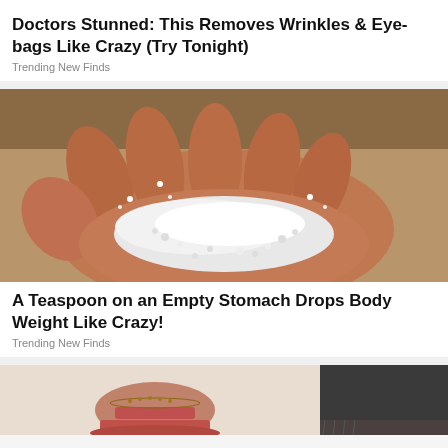Doctors Stunned: This Removes Wrinkles & Eye-bags Like Crazy (Try Tonight)
Trending New Finds
[Figure (photo): A dark-skinned hand holding a pile of white granular salt/powder against a sandy background]
A Teaspoon on an Empty Stomach Drops Body Weight Like Crazy!
Trending New Finds
[Figure (photo): Close-up of feet wearing pink sandals with an anklet bracelet, against a beige background, next to dark jeans]